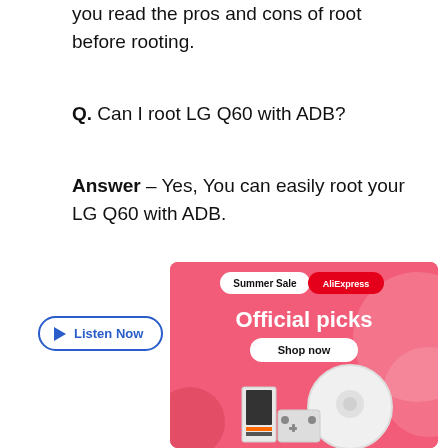you read the pros and cons of root before rooting.
Q. Can I root LG Q60 with ADB?
Answer – Yes, You can easily root your LG Q60 with ADB.
[Figure (illustration): AliExpress Summer Sale advertisement banner with pink background showing 'Official picks' text, Shop now button, robot vacuum, gaming console, and other products. Overlaid with a 'Listen Now' button.]